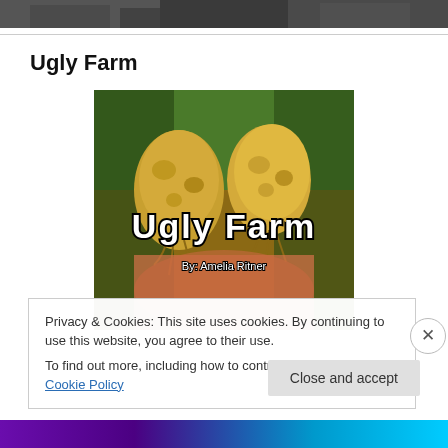[Figure (photo): Top strip showing partial photo of people in background, dark tones]
Ugly Farm
[Figure (photo): Book cover image for 'Ugly Farm' by Amelia Ritner, showing misshapen vegetables/root vegetables held in hands with the title text overlaid in white font with black outline]
Privacy & Cookies: This site uses cookies. By continuing to use this website, you agree to their use.
To find out more, including how to control cookies, see here: Cookie Policy
Close and accept